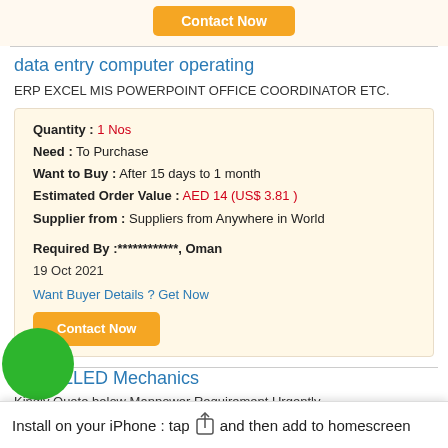[Figure (other): Contact Now button (orange) at top]
data entry computer operating
ERP EXCEL MIS POWERPOINT OFFICE COORDINATOR ETC.
Quantity : 1 Nos
Need : To Purchase
Want to Buy : After 15 days to 1 month
Estimated Order Value : AED 14 (US$ 3.81 )
Supplier from : Suppliers from Anywhere in World
Required By :************, Oman
19 Oct 2021
Want Buyer Details ? Get Now
[Figure (other): Contact Now button (orange)]
1. SKILLED Mechanics
Kindly Quote below Manpower Requirement Urgently.
1. SKILLED Mechanics : 10 No's
Quantity : 10 No's
Need : To Purchase
Want to Buy : After 15 days to 1 month
Install on your iPhone : tap  and then add to homescreen